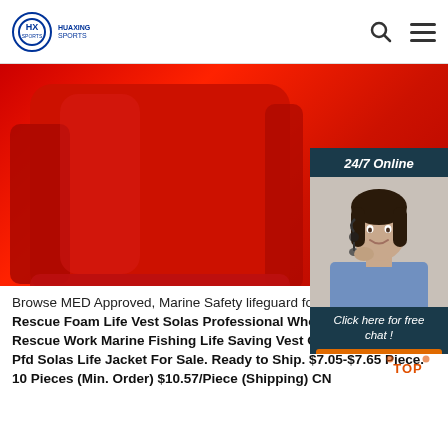[Figure (logo): Huaxing Sports logo — circular blue badge with stylized letters, brand name below]
[Figure (photo): Red foam life vest / life jacket product photo on white/grey background, with 24/7 Online customer service chat widget overlay on the right side showing a female customer service agent with headset, and a QUOTATION button]
Browse MED Approved, Marine Safety lifeguard foam
Rescue Foam Life Vest Solas Professional Wholesale Adult Rescue Work Marine Fishing Life Saving Vest Oxford EPE Foam Pfd Solas Life Jacket For Sale. Ready to Ship. $7.05-$7.65 Piece. 10 Pieces (Min. Order) $10.57/Piece (Shipping) CN